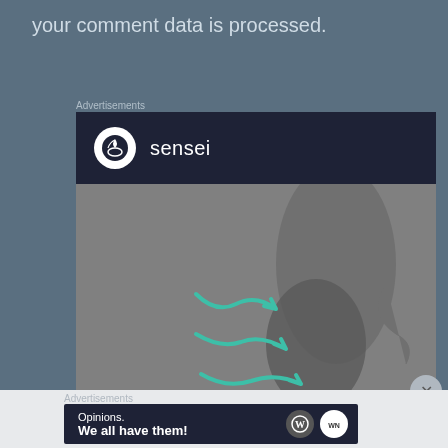your comment data is processed.
Advertisements
[Figure (other): Sensei advertisement banner with dark navy header showing the Sensei logo (tree/bonsai icon in white circle) and 'sensei' text, below which is a grey-toned image of a foot/ankle with teal arrow graphics overlaid]
Advertisements
[Figure (other): WordPress advertisement banner on dark navy background with text 'Opinions. We all have them!' and WordPress and another circular logo on the right]